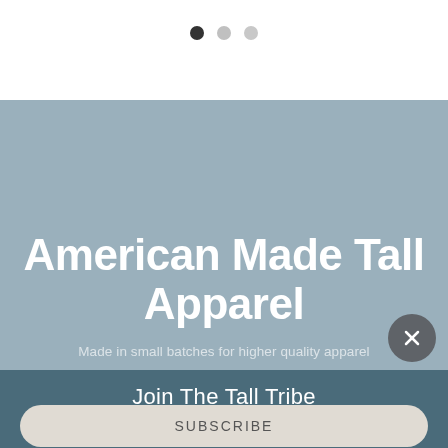[Figure (screenshot): Carousel pagination dots — one filled dark circle and two empty grey circles]
[Figure (screenshot): Light blue-grey hero banner background with bold white heading 'American Made Tall Apparel', subtitle 'Made in small batches for higher quality apparel', and a grey circular close (X) button]
American Made Tall Apparel
Made in small batches for higher quality apparel
Join The Tall Tribe
SUBSCRIBE